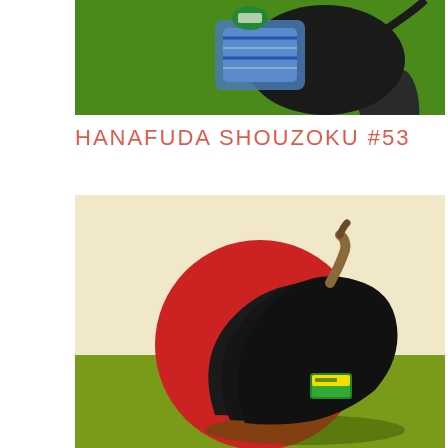[Figure (photo): Top portion of an illustration or artwork showing animals/figures on a green background — partial view, cropped at top]
HANAFUDA SHOUZOKU #53
[Figure (photo): Photograph of very dark/black overripe bananas sitting on a green floor surface with a large red circle and cream/beige upper background — styled as a Japanese-flag-inspired composition. A small sticker label is visible on the bananas.]